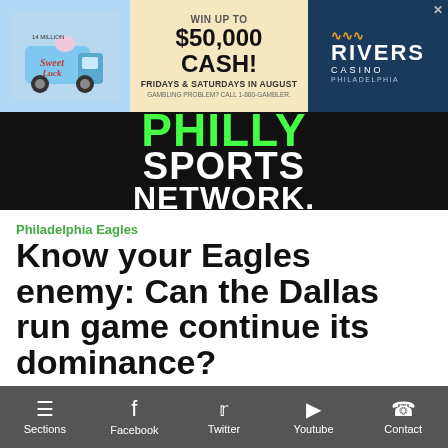[Figure (other): Advertisement banner: Sweet Luck Truck promotion — WIN UP TO $50,000 CASH! FRIDAYS & SATURDAYS IN AUGUST. Rivers Casino Philadelphia logo.]
[Figure (logo): Philly Sports Network logo in green and white text on black background.]
Philadelphia Eagles
Know your Eagles enemy: Can the Dallas run game continue its dominance?
By Morgan Burkett   0 comments   Posted on July 6, 2018
[Figure (photo): Partial photo strip of a football player/helmet at the bottom of the article header.]
Sections   Facebook   Twitter   Youtube   Contact